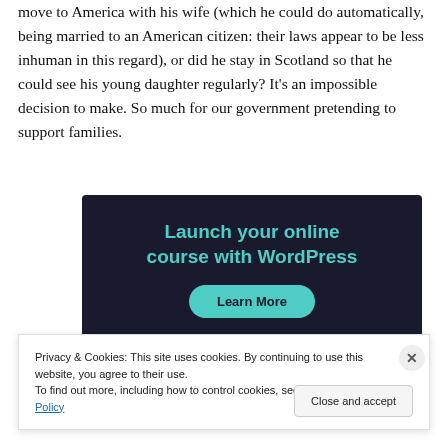move to America with his wife (which he could do automatically, being married to an American citizen: their laws appear to be less inhuman in this regard), or did he stay in Scotland so that he could see his young daughter regularly? It's an impossible decision to make. So much for our government pretending to support families.
[Figure (other): Advertisement banner with dark navy background. Text reads 'Launch your online course with WordPress' in teal, with a teal 'Learn More' button.]
Privacy & Cookies: This site uses cookies. By continuing to use this website, you agree to their use.
To find out more, including how to control cookies, see here: Cookie Policy